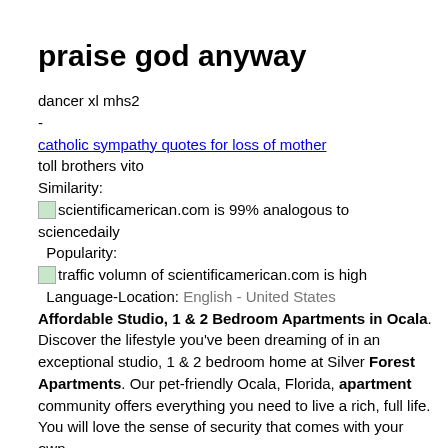praise god anyway
dancer xl mhs2
-
catholic sympathy quotes for loss of mother
toll brothers vito
Similarity:
[icon] scientificamerican.com is 99% analogous to sciencedaily
  Popularity:
[icon] traffic volumn of scientificamerican.com is high
  Language-Location: English - United States
Affordable Studio, 1 & 2 Bedroom Apartments in Ocala. Discover the lifestyle you've been dreaming of in an exceptional studio, 1 & 2 bedroom home at Silver Forest Apartments. Our pet-friendly Ocala, Florida, apartment community offers everything you need to live a rich, full life. You will love the sense of security that comes with your own.
Similar or Not?    Rating:
○
○